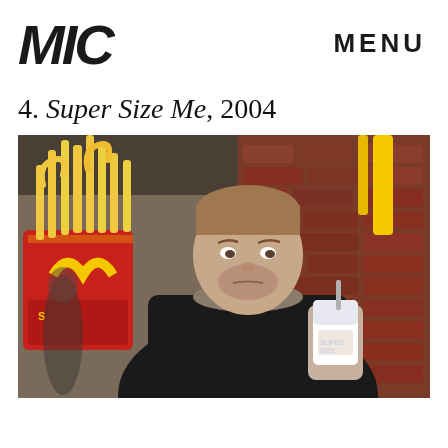MIC
MENU
4. Super Size Me, 2004
[Figure (photo): A man holding a large McDonald's french fries container and a McDonald's cup in front of a brick wall, with yellow McDonald's arches visible in the background. Still from the 2004 documentary Super Size Me.]